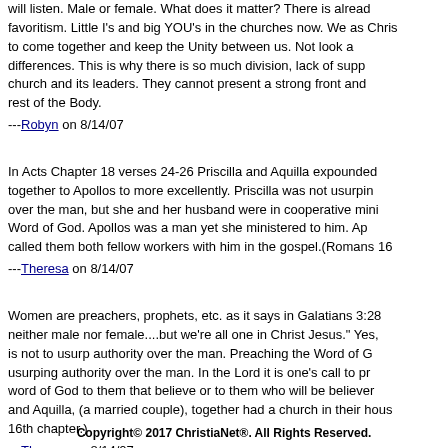will listen. Male or female. What does it matter? There is already favoritism. Little I's and big YOU's in the churches now. We as Chris to come together and keep the Unity between us. Not look at differences. This is why there is so much division, lack of supp church and its leaders. They cannot present a strong front and rest of the Body.
---Robyn on 8/14/07
In Acts Chapter 18 verses 24-26 Priscilla and Aquilla expounded together to Apollos to more excellently. Priscilla was not usurpin over the man, but she and her husband were in cooperative mini Word of God. Apollos was a man yet she ministered to him. Ap called them both fellow workers with him in the gospel.(Romans 16
---Theresa on 8/14/07
Women are preachers, prophets, etc. as it says in Galatians 3:28 neither male nor female....but we're all one in Christ Jesus." Yes, is not to usurp authority over the man. Preaching the Word of G usurping authority over the man. In the Lord it is one's call to pr word of God to them that believe or to them who will be believer and Aquilla, (a married couple), together had a church in their hous 16th chapter.)
---Theresa on 8/14/07
Copyright© 2017 ChristiaNet®. All Rights Reserved.